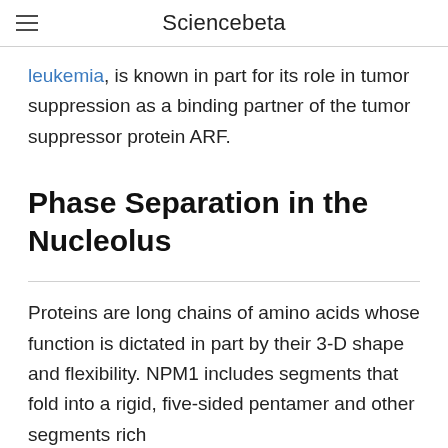Sciencebeta
leukemia, is known in part for its role in tumor suppression as a binding partner of the tumor suppressor protein ARF.
Phase Separation in the Nucleolus
Proteins are long chains of amino acids whose function is dictated in part by their 3-D shape and flexibility. NPM1 includes segments that fold into a rigid, five-sided pentamer and other segments rich